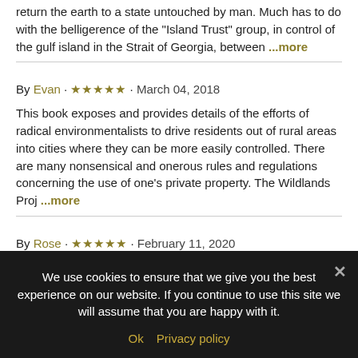return the earth to a state untouched by man. Much has to do with the belligerence of the "Island Trust" group, in control of the gulf island in the Strait of Georgia, between ...more
By Evan · ★★★★★ · March 04, 2018
This book exposes and provides details of the efforts of radical environmentalists to drive residents out of rural areas into cities where they can be more easily controlled. There are many nonsensical and onerous rules and regulations concerning the use of one's private property. The Wildlands Proj ...more
By Rose · ★★★★★ · February 11, 2020
Very apt title. Nickson chronicles the growth of the environmental movement and aligns its furtive redistribution of wealth, property
Reviews from Goodreads.com
We use cookies to ensure that we give you the best experience on our website. If you continue to use this site we will assume that you are happy with it. Ok Privacy policy